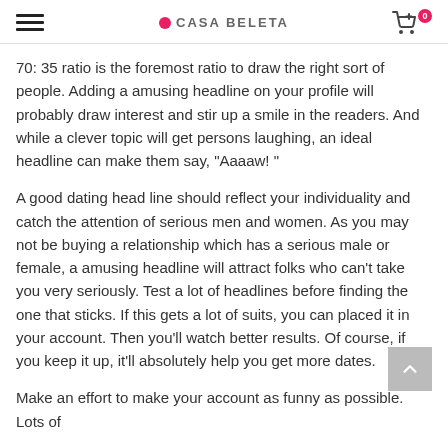CASA BELETA
70: 35 ratio is the foremost ratio to draw the right sort of people. Adding a amusing headline on your profile will probably draw interest and stir up a smile in the readers. And while a clever topic will get persons laughing, an ideal headline can make them say, “Aaaaw! ”
A good dating head line should reflect your individuality and catch the attention of serious men and women. As you may not be buying a relationship which has a serious male or female, a amusing headline will attract folks who can’t take you very seriously. Test a lot of headlines before finding the one that sticks. If this gets a lot of suits, you can placed it in your account. Then you’ll watch better results. Of course, if you keep it up, it’ll absolutely help you get more dates.
Make an effort to make your account as funny as possible. Lots of